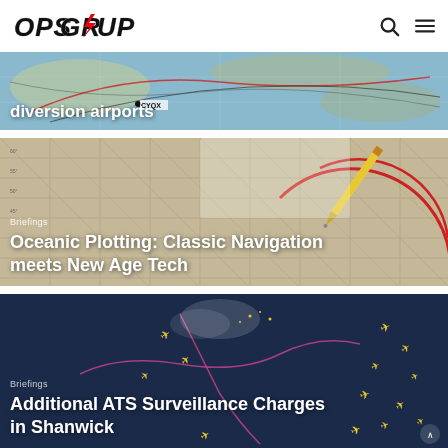OPSGROUP
[Figure (photo): Aerial navigation map showing diversion airports with CYQX label]
diversion airports
[Figure (photo): Navigation plotting chart with pencil and protractor showing red arc markings]
Briefings
Oceanic Plotting: Classic Navigation meets New Age Tech
[Figure (photo): Dark blue map showing North Atlantic airspace with yellow airplane icons]
Briefings
Additional ATS Surveillance Charges in Shanwick